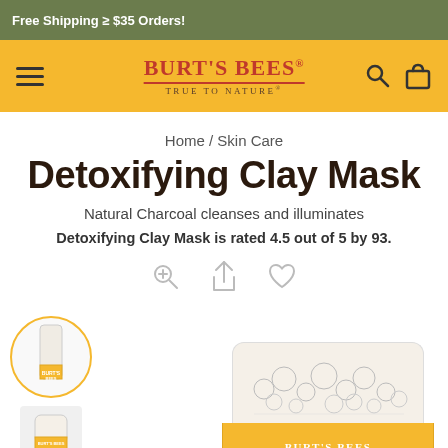Free Shipping ≥ $35 Orders!
[Figure (logo): Burt's Bees True to Nature logo with hamburger menu, search, and cart icons on golden yellow navigation bar]
Home / Skin Care
Detoxifying Clay Mask
Natural Charcoal cleanses and illuminates
Detoxifying Clay Mask is rated 4.5 out of 5 by 93.
[Figure (illustration): Product image thumbnails and main jar product image of Detoxifying Clay Mask with Burt's Bees yellow jar label]